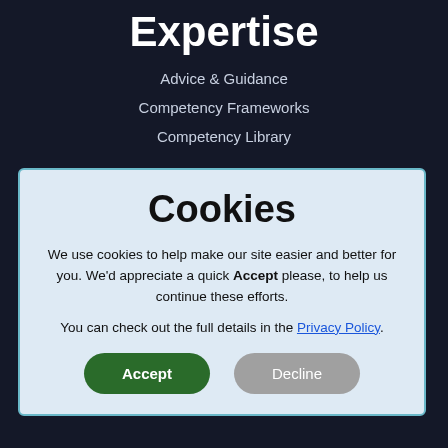Expertise
Advice & Guidance
Competency Frameworks
Competency Library
Cookies
We use cookies to help make our site easier and better for you. We'd appreciate a quick Accept please, to help us continue these efforts.
You can check out the full details in the Privacy Policy.
Accept
Decline